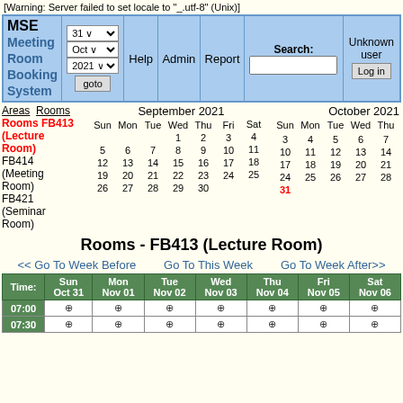[Warning: Server failed to set locale to "_.utf8" (Unix)]
[Figure (screenshot): MSE Meeting Room Booking System header with navigation controls including date selectors (31, Oct, 2021), Help, Admin, Report links, Search box, and Login button]
Areas  Rooms  September 2021  October 2021
Rooms FB413 (Lecture Room) FB414 (Meeting Room) FB421 (Seminar Room)
September 2021 calendar: Sun Mon Tue Wed Thu Fri Sat rows with dates 1-30
October 2021 calendar: Sun Mon Tue Wed Thu Fri Sat rows with dates 1-31
Rooms - FB413 (Lecture Room)
<< Go To Week Before   Go To This Week   Go To Week After>>
| Time: | Sun Oct 31 | Mon Nov 01 | Tue Nov 02 | Wed Nov 03 | Thu Nov 04 | Fri Nov 05 | Sat Nov 06 |
| --- | --- | --- | --- | --- | --- | --- | --- |
| 07:00 | + | + | + | + | + | + | + |
| 07:30 | + | + | + | + | + | + | + |